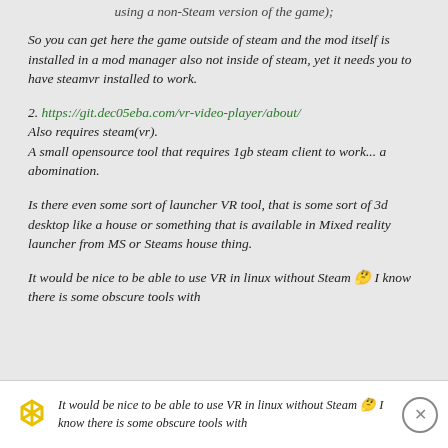using a non-Steam version of the game);
So you can get here the game outside of steam and the mod itself is installed in a mod manager also not inside of steam, yet it needs you to have steamvr installed to work.
2. https://git.dec05eba.com/vr-video-player/about/
Also requires steam(vr).
A small opensource tool that requires 1gb steam client to work... a abomination.
Is there even some sort of launcher VR tool, that is some sort of 3d desktop like a house or something that is available in Mixed reality launcher from MS or Steams house thing.
It would be nice to be able to use VR in linux without Steam 🤔 I know there is some obscure tools with